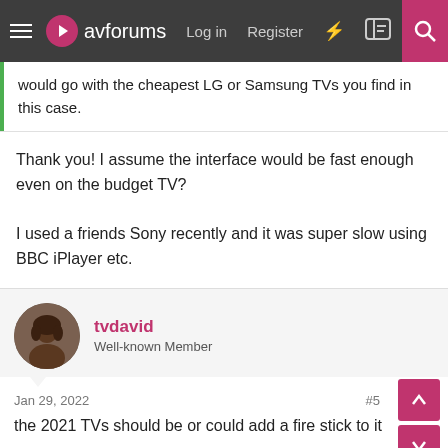avforums — Log in  Register
would go with the cheapest LG or Samsung TVs you find in this case.
Thank you! I assume the interface would be fast enough even on the budget TV?

I used a friends Sony recently and it was super slow using BBC iPlayer etc.
tvdavid
Well-known Member
Jan 29, 2022  #5
the 2021 TVs should be or could add a fire stick to it
1